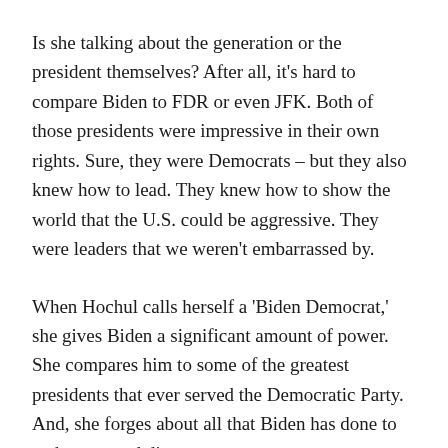Is she talking about the generation or the president themselves? After all, it's hard to compare Biden to FDR or even JFK. Both of those presidents were impressive in their own rights. Sure, they were Democrats – but they also knew how to lead. They knew how to show the world that the U.S. could be aggressive. They were leaders that we weren't embarrassed by.
When Hochul calls herself a 'Biden Democrat,' she gives Biden a significant amount of power. She compares him to some of the greatest presidents that ever served the Democratic Party. And, she forges about all that Biden has done to embarrass and disgrace our country.